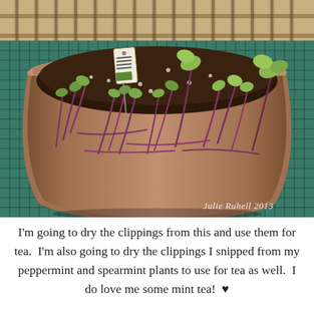[Figure (photo): A terracotta pot filled with mint plant cuttings (featuring reddish-purple stems and small green leaves) sitting on a teal green mesh patio table. A plant identification tag is sticking up from the soil. The background shows a wooden fence. A watermark reads 'Julie Ruhell 2013' in the lower right corner of the photo.]
I'm going to dry the clippings from this and use them for tea.  I'm also going to dry the clippings I snipped from my peppermint and spearmint plants to use for tea as well.  I do love me some mint tea!  ♥